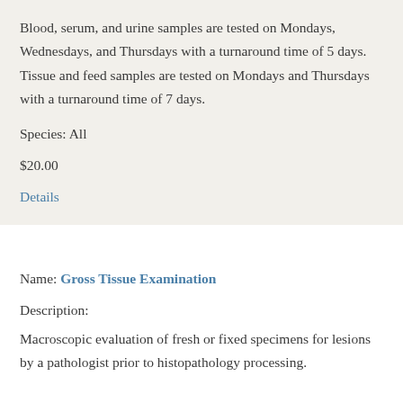Blood, serum, and urine samples are tested on Mondays, Wednesdays, and Thursdays with a turnaround time of 5 days. Tissue and feed samples are tested on Mondays and Thursdays with a turnaround time of 7 days.
Species: All
$20.00
Details
Name: Gross Tissue Examination
Description:
Macroscopic evaluation of fresh or fixed specimens for lesions by a pathologist prior to histopathology processing.